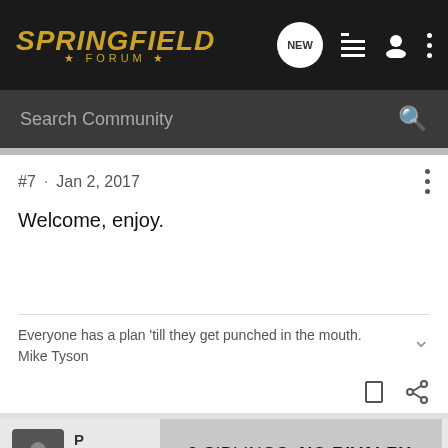Springfield Forum
#7 · Jan 2, 2017
Welcome, enjoy.
Everyone has a plan 'till they get punched in the mouth.
Mike Tyson
[Figure (screenshot): Advertisement banner: '3 SIBLINGS. NO RIVALRY.']